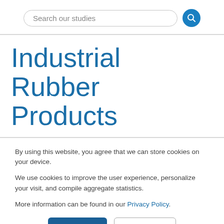Search our studies
Industrial Rubber Products
By using this website, you agree that we can store cookies on your device.
We use cookies to improve the user experience, personalize your visit, and compile aggregate statistics.
More information can be found in our Privacy Policy.
Accept | Decline